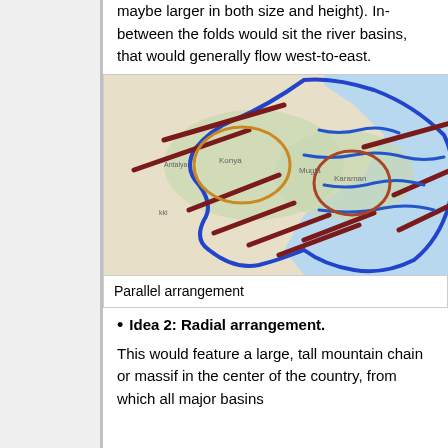maybe larger in both size and height). In-between the folds would sit the river basins, that would generally flow west-to-east.
[Figure (map): A map showing a country's terrain with parallel arrangement — dark red diagonal lines representing mountain folds/ridges, blue wavy lines representing rivers flowing generally west-to-east, orange and brown circles highlighting specific basin areas, and a blue border outlining the country's coastline.]
Parallel arrangement
Idea 2: Radial arrangement.
This would feature a large, tall mountain chain or massif in the center of the country, from which all major basins